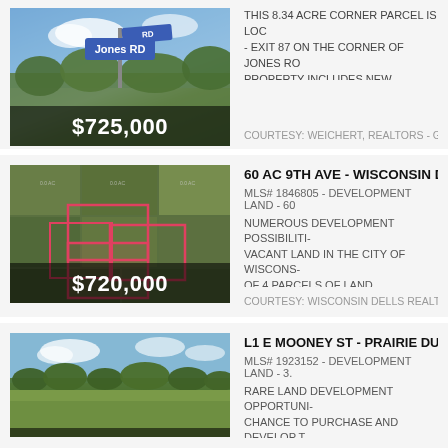[Figure (photo): Street sign photo showing Jones RD sign with trees and sky in background, price badge $725,000]
THIS 8.34 ACRE CORNER PARCEL IS LOC- EXIT 87 ON THE CORNER OF JONES RO- PROPERTY INCLUDES NEW INFRASTRU-
COURTESY: WEICHERT, REALTORS - GRE
60 AC 9TH AVE - WISCONSIN DELLS
MLS# 1846805 - DEVELOPMENT LAND - 60
NUMEROUS DEVELOPMENT POSSIBILITI- VACANT LAND IN THE CITY OF WISCONS- OF 4 PARCELS OF LAND. PROPERTY IS L-
[Figure (photo): Aerial map view showing parcels of land outlined in pink/red, price badge $720,000]
COURTESY: WISCONSIN DELLS REALTY
L1 E MOONEY ST - PRAIRIE DU CHIE-
MLS# 1923152 - DEVELOPMENT LAND - 3.
RARE LAND DEVELOPMENT OPPORTUNI- CHANCE TO PURCHASE AND DEVELOP T-
[Figure (photo): Open field with tree line in background and blue sky, prairie land]